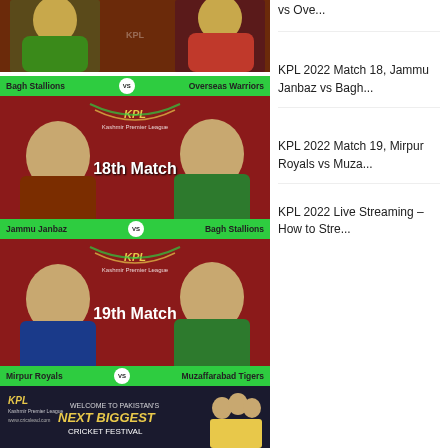[Figure (photo): Top partial card showing two cricket players - one in green Bagh Stallions jersey and one in red/black Overseas Warriors jersey]
Bagh Stallions vs Overseas Warriors
[Figure (photo): KPL 2022 18th Match card - Jammu Janbaz vs Bagh Stallions, showing two players on red background with KPL logo and '18th Match' text]
Jammu Janbaz vs Bagh Stallions
[Figure (photo): KPL 2022 19th Match card - Mirpur Royals vs Muzaffarabad Tigers, showing two players on red background with KPL logo and '19th Match' text]
Mirpur Royals vs Muzaffarabad Tigers
[Figure (photo): KPL 2022 Live Streaming promo banner - Welcome to Pakistan's Next Biggest Cricket Festival with KPL logo]
vs Ove...
KPL 2022 Match 18, Jammu Janbaz vs Bagh...
KPL 2022 Match 19, Mirpur Royals vs Muza...
KPL 2022 Live Streaming – How to Stre...